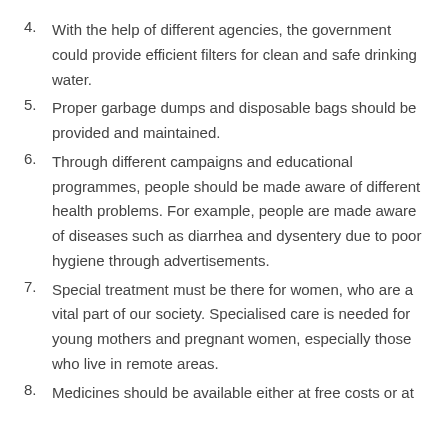4. With the help of different agencies, the government could provide efficient filters for clean and safe drinking water.
5. Proper garbage dumps and disposable bags should be provided and maintained.
6. Through different campaigns and educational programmes, people should be made aware of different health problems. For example, people are made aware of diseases such as diarrhea and dysentery due to poor hygiene through advertisements.
7. Special treatment must be there for women, who are a vital part of our society. Specialised care is needed for young mothers and pregnant women, especially those who live in remote areas.
8. Medicines should be available either at free costs or at